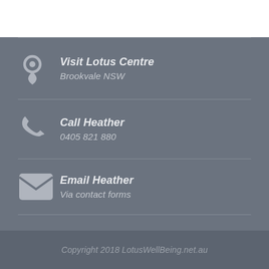Visit Lotus Centre — Brookvale NSW
Call Heather — 0405 821 880
Email Heather — Via contact forms
Copyright 2018 LotusWellBeing.net.au